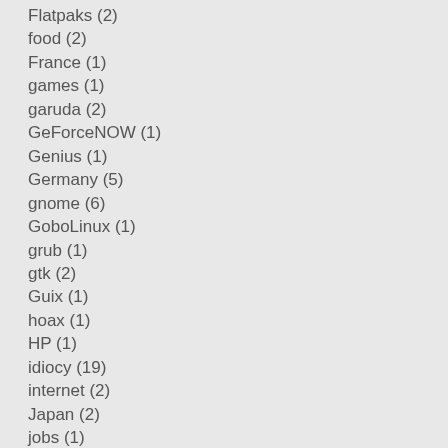Flatpaks (2)
food (2)
France (1)
games (1)
garuda (2)
GeForceNOW (1)
Genius (1)
Germany (5)
gnome (6)
GoboLinux (1)
grub (1)
gtk (2)
Guix (1)
hoax (1)
HP (1)
idiocy (19)
internet (2)
Japan (2)
jobs (1)
Justice (3)
kde (9)
kernel (1)
keyboards (1)